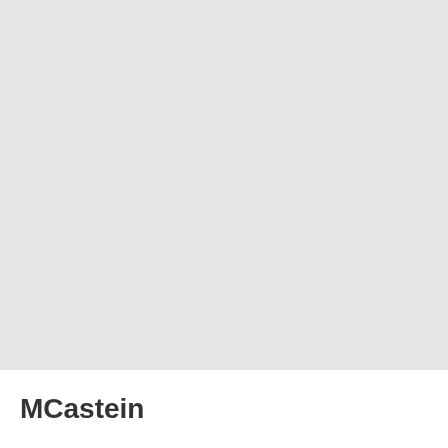[Figure (illustration): Large light gray rectangular placeholder image area occupying the upper portion of the page]
MCastein